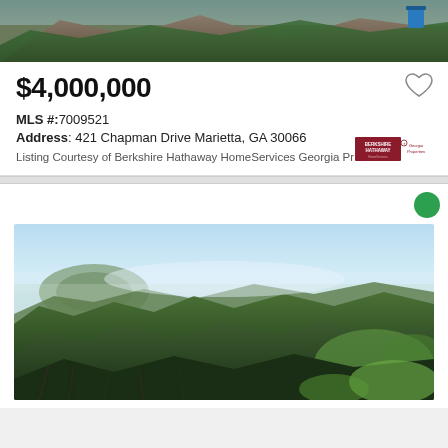[Figure (photo): Aerial or outdoor photo of wooded/rocky property, partial view at top of card]
$4,000,000
MLS #:7009521
Address: 421 Chapman Drive Marietta, GA 30066
Listing Courtesy of Berkshire Hathaway HomeServices Georgia Properties
[Figure (logo): Berkshire Hathaway HomeServices Georgia Properties logo]
[Figure (photo): Aerial drone photo of wooded landscape with mountain/hill in background, Marietta GA area, clear blue sky]